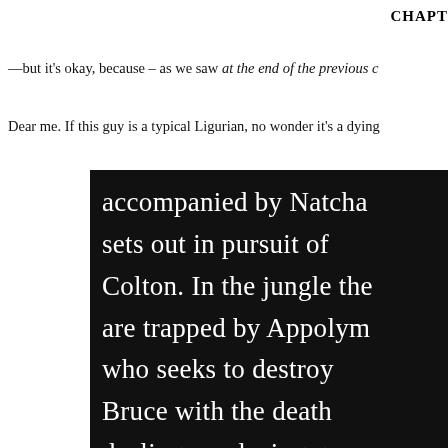CHAPT
—but it's okay, because – as we saw at the end of the previous c
Dear me. If this guy is a typical Ligurian, no wonder it's a dying
[Figure (photo): Black and white image with white text on dark background reading: 'accompanied by Natcha sets out in pursuit of Colton. In the jungle the are trapped by Appolym who seeks to destroy Bruce with the death dealing paralysing gun']